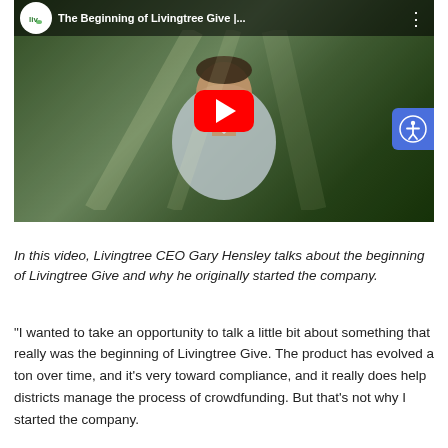[Figure (screenshot): YouTube video thumbnail showing a man in a plaid shirt outdoors with trees in background. Video title reads 'The Beginning of Livingtree Give |...' with YouTube logo, red play button in center, and accessibility icon button in top right.]
In this video, Livingtree CEO Gary Hensley talks about the beginning of Livingtree Give and why he originally started the company.
"I wanted to take an opportunity to talk a little bit about something that really was the beginning of Livingtree Give. The product has evolved a ton over time, and it's very toward compliance, and it really does help districts manage the process of crowdfunding. But that's not why I started the company.